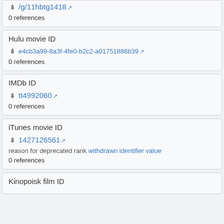/g/11hbtg1418 ↗
0 references
Hulu movie ID
e4cb3a99-8a3f-4fe0-b2c2-a01751886b39 ↗
0 references
IMDb ID
tt4992060 ↗
0 references
iTunes movie ID
1427126561 ↗
reason for deprecated rank withdrawn identifier value
0 references
Kinopoisk film ID